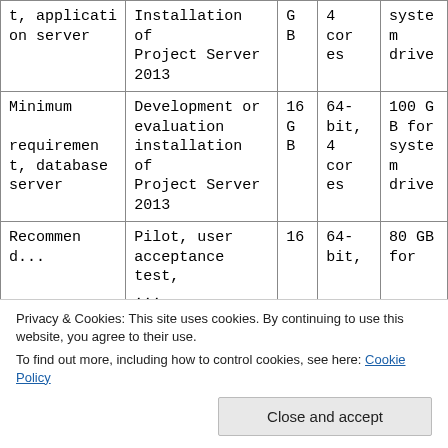|  |  |  |  |  |
| --- | --- | --- | --- | --- |
| t, application server | Installation of Project Server 2013 | G B | 4 cores | syste m drive |
| Minimum requirement, database server | Development or evaluation installation of Project Server 2013 | 16 G B | 64-bit, 4 cores | 100 G B for syste m drive |
| Recommen d... | Pilot, user acceptance test, ... | 16 | 64-bit, | 80 GB for |
| Recommen | acceptance test |  | 64- | 100 G |
Privacy & Cookies: This site uses cookies. By continuing to use this website, you agree to their use.
To find out more, including how to control cookies, see here: Cookie Policy